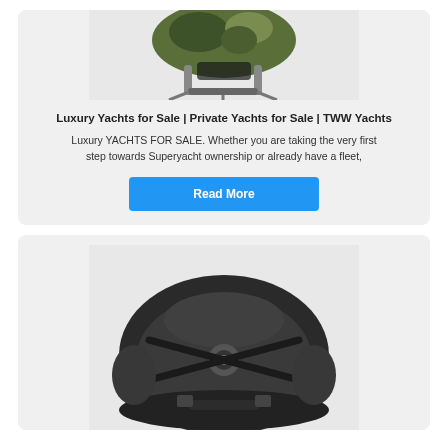[Figure (photo): Camouflage military backpack or helmet with straps on a light background, top portion visible]
Luxury Yachts for Sale | Private Yachts for Sale | TWW Yachts
Luxury YACHTS FOR SALE. Whether you are taking the very first step towards Superyacht ownership or already have a fleet,
[Figure (other): Blue Read More button]
[Figure (photo): Black military helmet viewed from inside/back showing straps and padding]